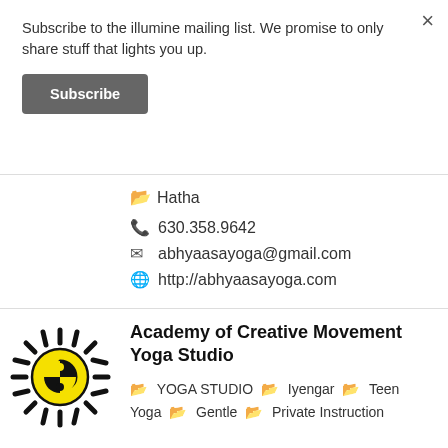Subscribe to the illumine mailing list. We promise to only share stuff that lights you up.
Subscribe
Hatha
630.358.9642
abhyaasayoga@gmail.com
http://abhyaasayoga.com
[Figure (logo): Sun logo with yellow spiral center and black rays for Academy of Creative Movement Yoga Studio]
Academy of Creative Movement Yoga Studio
YOGA STUDIO  Iyengar  Teen Yoga  Gentle  Private Instruction